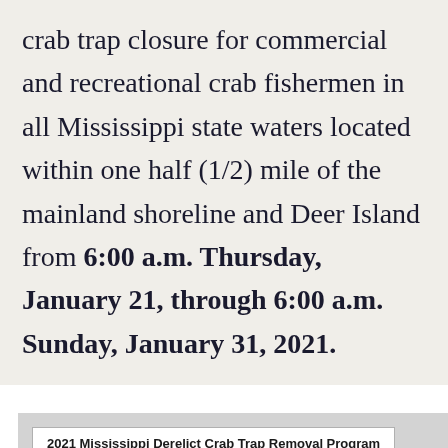crab trap closure for commercial and recreational crab fishermen in all Mississippi state waters located within one half (1/2) mile of the mainland shoreline and Deer Island from 6:00 a.m. Thursday, January 21, through 6:00 a.m. Sunday, January 31, 2021.
[Figure (other): 2021 Mississippi Derelict Crab Trap Removal Program — partial table/figure header visible at bottom of page]